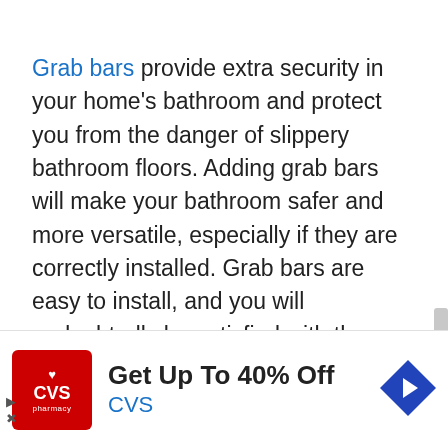Grab bars provide extra security in your home's bathroom and protect you from the danger of slippery bathroom floors. Adding grab bars will make your bathroom safer and more versatile, especially if they are correctly installed. Grab bars are easy to install, and you will undoubtedly be satisfied with the security and convenience that they will provide. Keep
[Figure (infographic): CVS Pharmacy advertisement banner. CVS logo (red background with heart symbol), headline 'Get Up To 40% Off', subtext 'CVS', and a blue navigation arrow icon on the right.]